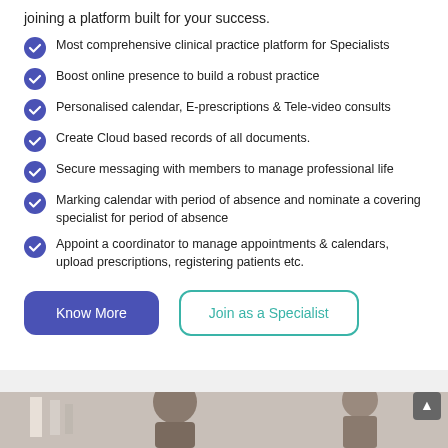joining a platform built for your success.
Most comprehensive clinical practice platform for Specialists
Boost online presence to build a robust practice
Personalised calendar, E-prescriptions & Tele-video consults
Create Cloud based records of all documents.
Secure messaging with members to manage professional life
Marking calendar with period of absence and nominate a covering specialist for period of absence
Appoint a coordinator to manage appointments & calendars, upload prescriptions, registering patients etc.
[Figure (other): Two buttons: a filled blue-purple 'Know More' button and an outlined teal 'Join as a Specialist' button]
[Figure (photo): Bottom photo strip showing people in a pharmacy/medical setting]